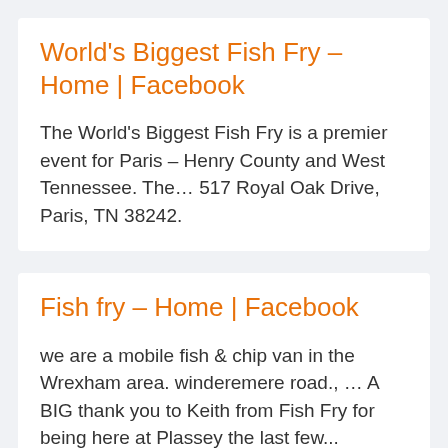World's Biggest Fish Fry – Home | Facebook
The World's Biggest Fish Fry is a premier event for Paris – Henry County and West Tennessee. The… 517 Royal Oak Drive, Paris, TN 38242.
Fish fry – Home | Facebook
we are a mobile fish & chip van in the Wrexham area. winderemere road., … A BIG thank you to Keith from Fish Fry for being here at Plassey the last few...